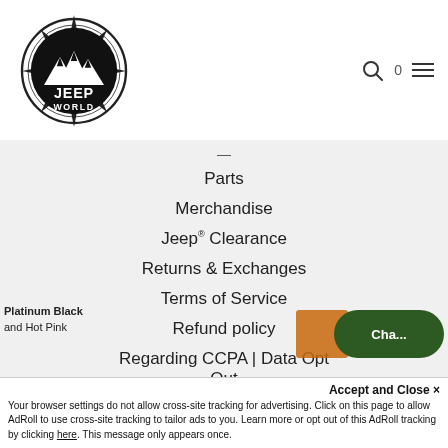[Figure (logo): Jeep World circular logo with mountains, compass points, and 'JEEP WORLD' text in black and white]
Parts
Merchandise
Jeep® Clearance
Returns & Exchanges
Terms of Service
Refund policy
Regarding CCPA | Data Opt Out
Platinum Black and Hot Pink
Accept and Close ✕
Your browser settings do not allow cross-site tracking for advertising. Click on this page to allow AdRoll to use cross-site tracking to tailor ads to you. Learn more or opt out of this AdRoll tracking by clicking here. This message only appears once.